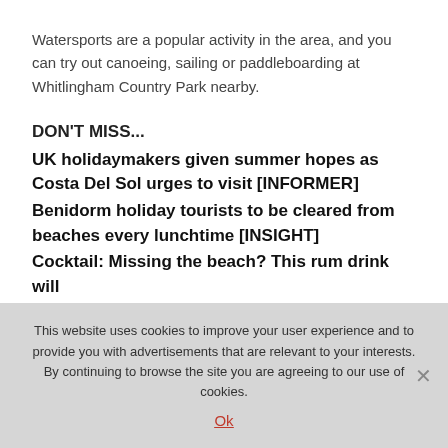Watersports are a popular activity in the area, and you can try out canoeing, sailing or paddleboarding at Whitlingham Country Park nearby.
DON'T MISS...
UK holidaymakers given summer hopes as Costa Del Sol urges to visit [INFORMER]
Benidorm holiday tourists to be cleared from beaches every lunchtime [INSIGHT]
Cocktail: Missing the beach? This rum drink will
This website uses cookies to improve your user experience and to provide you with advertisements that are relevant to your interests. By continuing to browse the site you are agreeing to our use of cookies.
Ok